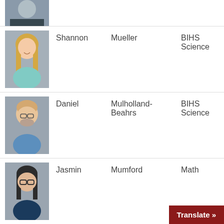[Figure (photo): Partial photo of a person at top of page, cropped]
| Photo | First Name | Last Name | Department |
| --- | --- | --- | --- |
| [photo] | Shannon | Mueller | BIHS Science |
| [photo] | Daniel | Mulholland-Beahrs | BIHS Science |
| [photo] | Jasmin | Mumford | Math |
| [photo] | Sakiko | Muranaka (partial) |  |
Translate »